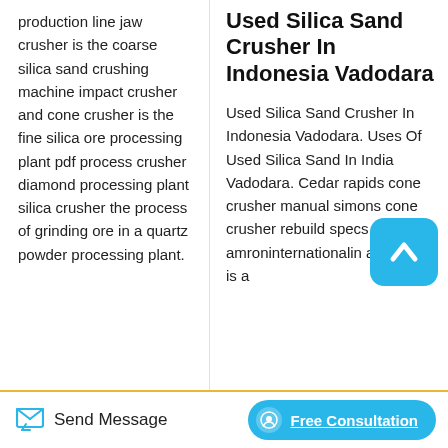production line jaw crusher is the coarse silica sand crushing machine impact crusher and cone crusher is the fine silica ore processing plant pdf process crusher diamond processing plant silica crusher the process of grinding ore in a quartz powder processing plant.
Used Silica Sand Crusher In Indonesia Vadodara
Used Silica Sand Crusher In Indonesia Vadodara. Uses Of Used Silica Sand In India Vadodara. Cedar rapids cone crusher manual simons cone crusher rebuild specs amroninternationalin a crusher is a
[Figure (other): Scroll-up button: rounded square with cyan/blue background and white upward chevron arrow icon]
Send Message | Free Consultation